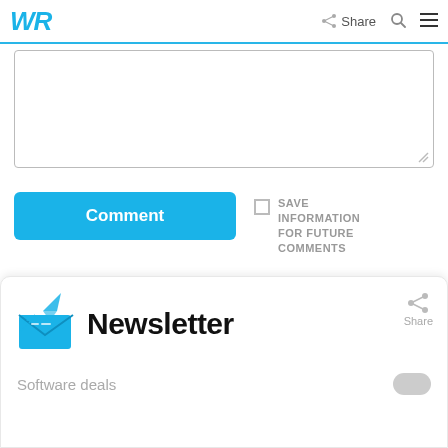WR  Share  [search]  [menu]
[Figure (screenshot): Comment text area input box, partially shown, with resize handle at bottom right]
[Figure (screenshot): Comment submit button (blue) and Save Information For Future Comments checkbox]
[Figure (screenshot): Newsletter card section with envelope icon, Newsletter title, share icon, and Software deals toggle row]